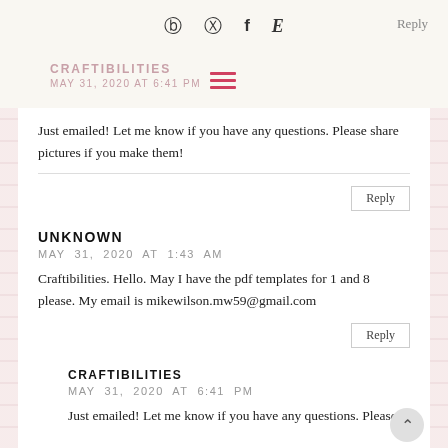Icons: Instagram, Pinterest, Facebook, Etsy | Reply
CRAFTIBILITIES
MAY 31, 2020 AT 6:41 PM
Just emailed! Let me know if you have any questions. Please share pictures if you make them!
Reply
UNKNOWN
MAY 31, 2020 AT 1:43 AM
Craftibilities. Hello. May I have the pdf templates for 1 and 8 please. My email is mikewilson.mw59@gmail.com
Reply
CRAFTIBILITIES
MAY 31, 2020 AT 6:41 PM
Just emailed! Let me know if you have any questions. Please